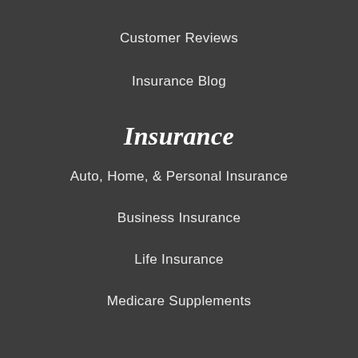Customer Reviews
Insurance Blog
Insurance
Auto, Home, & Personal Insurance
Business Insurance
Life Insurance
Medicare Supplements